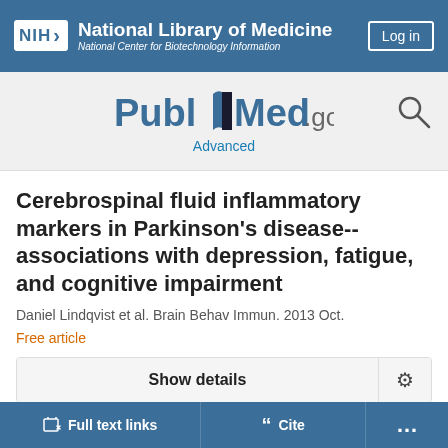[Figure (logo): NIH National Library of Medicine / National Center for Biotechnology Information header with Log in button]
[Figure (logo): PubMed.gov logo with search icon and Advanced link]
Cerebrospinal fluid inflammatory markers in Parkinson's disease--associations with depression, fatigue, and cognitive impairment
Daniel Lindqvist et al. Brain Behav Immun. 2013 Oct.
Free article
Show details
Full text links
Cite